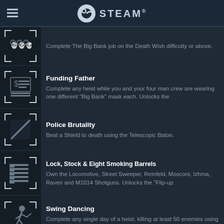STEAM
Complete The Big Bank job on the Death Wish difficulty or above.
Funding Father
Complete any heist while you and your four man crew are wearing one different "Big Bank" mask each. Unlocks the
Police Brutality
Beat a Shield to death using the Telescopic Baton.
Lock, Stock & Eight Smoking Barrels
Own the Locomotive, Street Sweeper, Reinfeld, Mosconi, Izhma, Raven and M1014 Shotguns. Unlocks the "Flip-up
Swing Dancing
Complete any single day of a heist, killing at least 50 enemies using only your melee weapon.
Seven Eleven